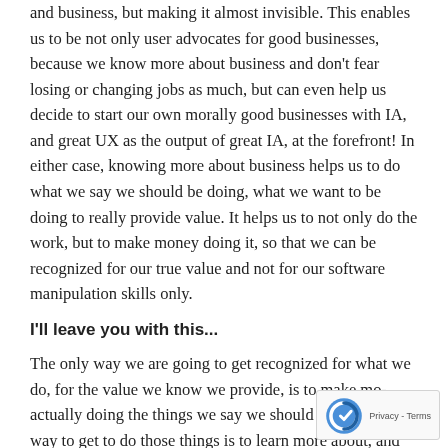and business, but making it almost invisible. This enables us to be not only user advocates for good businesses, because we know more about business and don't fear losing or changing jobs as much, but can even help us decide to start our own morally good businesses with IA, and great UX as the output of great IA, at the forefront! In either case, knowing more about business helps us to do what we say we should be doing, what we want to be doing to really provide value. It helps us to not only do the work, but to make money doing it, so that we can be recognized for our true value and not for our software manipulation skills only.
I'll leave you with this...
The only way we are going to get recognized for what we do, for the value we know we provide, is to make mo actually doing the things we say we should be doing. only way to get to do those things is to learn more about, and